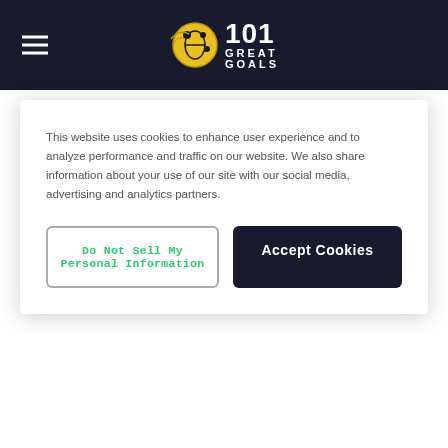101 Great Goals
This website uses cookies to enhance user experience and to analyze performance and traffic on our website. We also share information about your use of our site with our social media, advertising and analytics partners.
Do Not Sell My Personal Information
Accept Cookies
Football Teams
Football Betting Sites
Betfair
Betway
Betfred
bet365